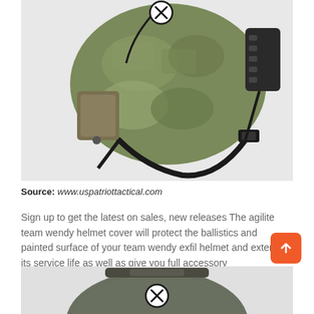[Figure (photo): Tactical military helmet with multicam cover, black chin strap, and accessories including NVG mount bracket. Viewed from the side/back. Has a circled X icon overlay at top center.]
Source: www.uspatriottactical.com
Sign up to get the latest on sales, new releases The agilite team wendy helmet cover will protect the ballistics and painted surface of your team wendy exfil helmet and extend its service life as well as give you full accessory management.
[Figure (photo): Bottom portion of a second helmet/tactical gear item, partially visible at the bottom of the page, with a circled X icon overlay.]